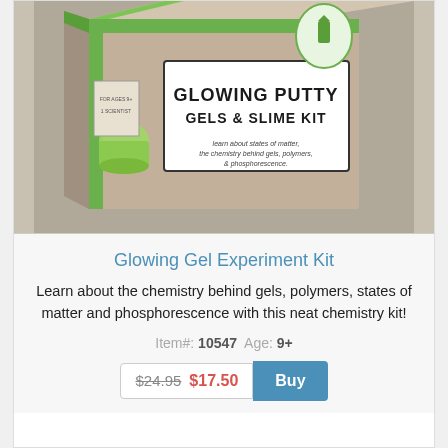[Figure (photo): Product photo of a cardboard box labeled 'Glowing Putty Gels & Slime Kit' with a green stripe, a green badge icon, and text about chemistry and phosphorescence.]
Glowing Gel Experiment Kit
Learn about the chemistry behind gels, polymers, states of matter and phosphorescence with this neat chemistry kit!
Item#: 10547 Age: 9+
$24.95 $17.50 Buy